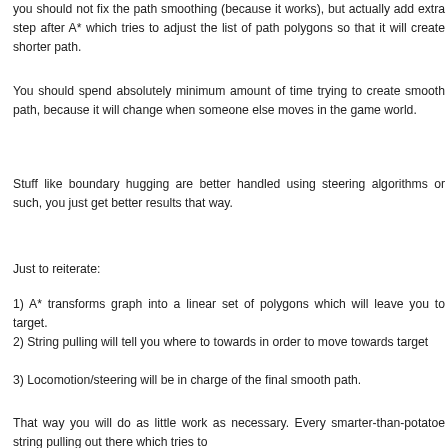you should not fix the path smoothing (because it works), but actually add extra step after A* which tries to adjust the list of path polygons so that it will create shorter path.
You should spend absolutely minimum amount of time trying to create smooth path, because it will change when someone else moves in the game world.
Stuff like boundary hugging are better handled using steering algorithms or such, you just get better results that way.
Just to reiterate:
1) A* transforms graph into a linear set of polygons which will leave you to target.
2) String pulling will tell you where to towards in order to move towards target
3) Locomotion/steering will be in charge of the final smooth path.
That way you will do as little work as necessary. Every smarter-than-potatoe string pulling out there which tries to